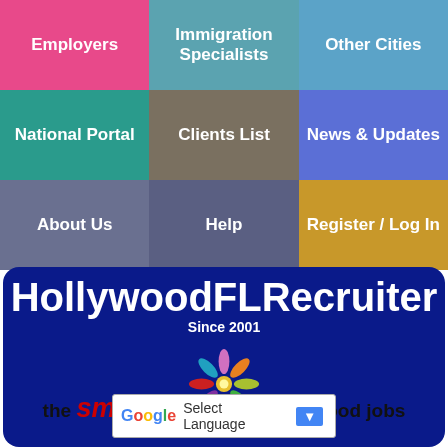[Figure (screenshot): Navigation grid with 9 colored buttons: Employers (pink), Immigration Specialists (teal), Other Cities (blue), National Portal (green), Clients List (brown), News & Updates (purple-blue), About Us (slate), Help (dark slate), Register / Log In (gold)]
HollywoodFLRecruiter
Since 2001
[Figure (logo): Colorful flower/star logo with people silhouettes in multiple colors on dark blue background]
the smart solution for Hollywood jobs
Select Language